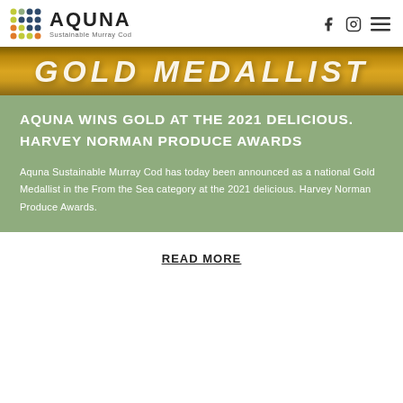AQUNA Sustainable Murray Cod
[Figure (photo): Gold Medallist banner with golden metallic text reading GOLD MEDALLIST on a bronze/gold gradient background]
AQUNA WINS GOLD AT THE 2021 DELICIOUS. HARVEY NORMAN PRODUCE AWARDS
Aquna Sustainable Murray Cod has today been announced as a national Gold Medallist in the From the Sea category at the 2021 delicious. Harvey Norman Produce Awards.
READ MORE